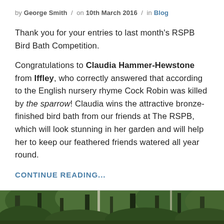by George Smith / on 10th March 2016 / in Blog
Thank you for your entries to last month's RSPB Bird Bath Competition.
Congratulations to Claudia Hammer-Hewstone from Iffley, who correctly answered that according to the English nursery rhyme Cock Robin was killed by the sparrow! Claudia wins the attractive bronze-finished bird bath from our friends at The RSPB, which will look stunning in her garden and will help her to keep our feathered friends watered all year round.
CONTINUE READING...
[Figure (photo): A woodland/forest scene with trees and green foliage, partially visible at the bottom of the page]